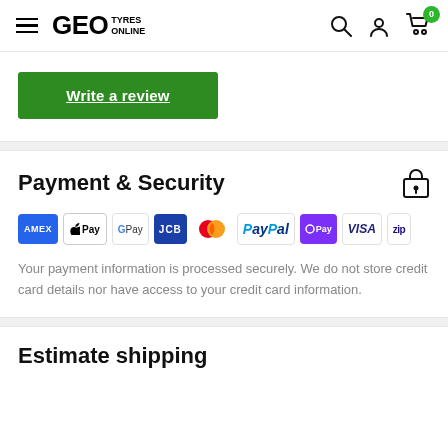GEO TYRES ONLINE
Write a review
Payment & Security
[Figure (logo): Payment method icons: AMEX, Apple Pay, Google Pay, JCB, Mastercard, PayPal, OPay, VISA, Zip]
Your payment information is processed securely. We do not store credit card details nor have access to your credit card information.
Estimate shipping